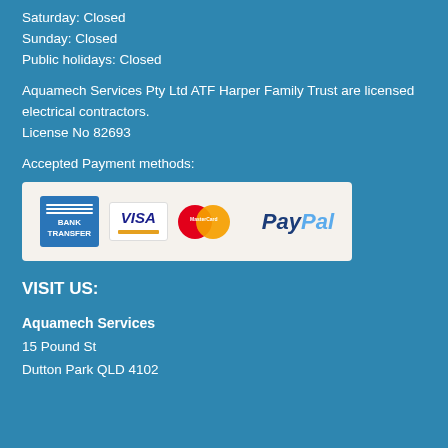Saturday: Closed
Sunday: Closed
Public holidays: Closed
Aquamech Services Pty Ltd ATF Harper Family Trust are licensed electrical contractors.
License No 82693
Accepted Payment methods:
[Figure (illustration): Payment methods banner showing Bank Transfer, Visa, MasterCard, and PayPal logos on a light beige background]
VISIT US:
Aquamech Services
15 Pound St
Dutton Park QLD 4102